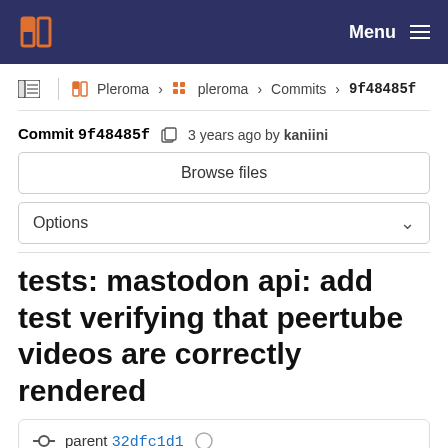Pleroma GitLab - Menu
Pleroma › pleroma › Commits › 9f48485f
Commit 9f48485f  3 years ago by kaniini
Browse files
Options
tests: mastodon api: add test verifying that peertube videos are correctly rendered
parent 32dfc1d1
1 merge request !459 Fix "url" of Videos in